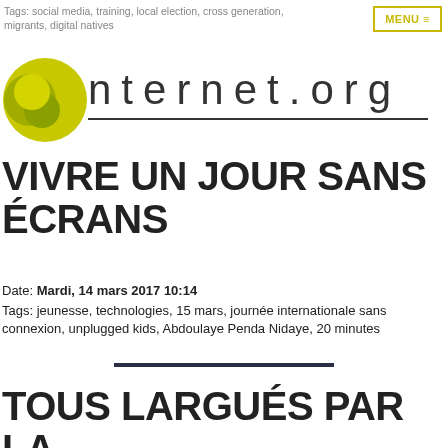Tags: social media, training, local election, cross generation, migrants, digital natives
[Figure (logo): Internet.org logo with yellow-green circle and text 'nternet.org']
VIVRE UN JOUR SANS ÉCRANS
Date: Mardi, 14 mars 2017 10:14
Tags: jeunesse, technologies, 15 mars, journée internationale sans connexion, unplugged kids, Abdoulaye Penda Nidaye, 20 minutes
TOUS LARGUÉS PAR LA TECHNOLOGIE